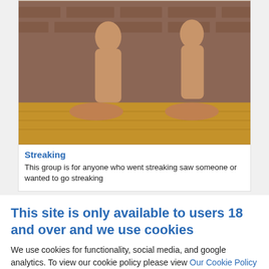[Figure (photo): Two nude women sitting cross-legged in meditation pose on a wooden floor against a brick wall background]
Streaking
This group is for anyone who went streaking saw someone or wanted to go streaking
This site is only available to users 18 and over and we use cookies
We use cookies for functionality, social media, and google analytics. To view our cookie policy please view Our Cookie Policy
Leave | I'm 18+ and Accept Cookies